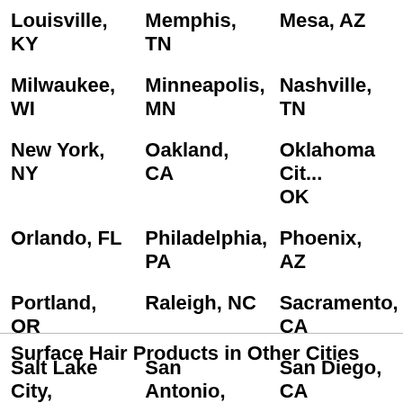| Louisville, KY | Memphis, TN | Mesa, AZ |
| Milwaukee, WI | Minneapolis, MN | Nashville, TN |
| New York, NY | Oakland, CA | Oklahoma City, OK |
| Orlando, FL | Philadelphia, PA | Phoenix, AZ |
| Portland, OR | Raleigh, NC | Sacramento, CA |
| Salt Lake City, UT | San Antonio, TX | San Diego, CA |
| Santa Clara, CA | Seattle, WA | Tampa Bay, FL |
| Tulsa, OK | Virginia Beach, VA | Washington, DC |
Surface Hair Products in Other Cities